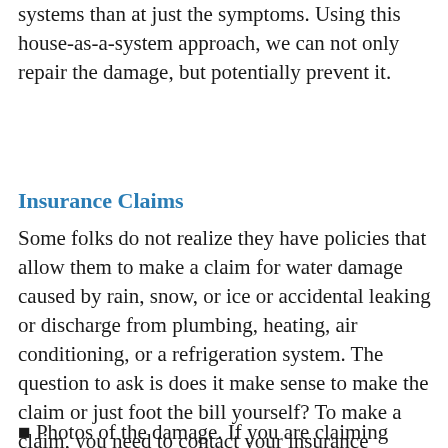systems than at just the symptoms. Using this house-as-a-system approach, we can not only repair the damage, but potentially prevent it.
Insurance Claims
Some folks do not realize they have policies that allow them to make a claim for water damage caused by rain, snow, or ice or accidental leaking or discharge from plumbing, heating, air conditioning, or a refrigeration system. The question to ask is does it make sense to make the claim or just foot the bill yourself? To make a claim, you need to contact your insurance provider and speak with an adjuster. Be prepared to provide:
Photos of the damage. If you are claiming